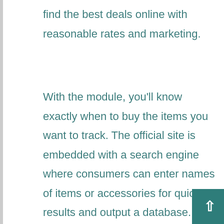find the best deals online with reasonable rates and marketing.
With the module, you'll know exactly when to buy the items you want to track. The official site is embedded with a search engine where consumers can enter names of items or accessories for quick results and output a database. There are different items presented at sites, such as Cameras, Laptops, Toys, Washer Dryer, TV & Audio, Game consoles, Watches, Smartphones, Vacuums, Cookware and many more.